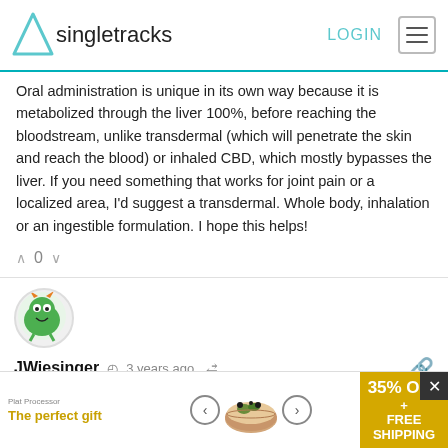singletracks — LOGIN
Oral administration is unique in its own way because it is metabolized through the liver 100%, before reaching the bloodstream, unlike transdermal (which will penetrate the skin and reach the blood) or inhaled CBD, which mostly bypasses the liver. If you need something that works for joint pain or a localized area, I'd suggest a transdermal. Whole body, inhalation or an ingestible formulation. I hope this helps!
0
[Figure (illustration): User avatar for JWiesinger — cartoon green monster/alien character]
JWiesinger  3 years ago
Sooo proud of you! Keep up the great work!

Riding for fun and general fitness, I've recently started using a CBD product for pain/soreness and sleep... so far so good. I
[Figure (infographic): Advertisement banner: 'The perfect gift' with bowl of food image, navigation arrows, and '35% OFF + FREE SHIPPING' yellow/gold box]